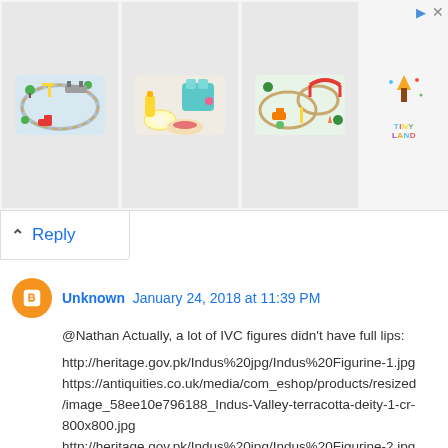[Figure (photo): Advertisement banner showing three toy product images: a wooden train set, wooden toy food/toaster set, and another wooden train set, with Tiny Land logo on the right side. Navigation arrow icon and X close button in top right corner.]
Reply
Unknown January 24, 2018 at 11:39 PM
@Nathan Actually, a lot of IVC figures didn't have full lips:

http://heritage.gov.pk/Indus%20jpg/Indus%20Figurine-1.jpg
https://antiquities.co.uk/media/com_eshop/products/resized/image_58ee10e796188_Indus-Valley-terracotta-deity-1-cr-800x800.jpg
http://heritage.gov.pk/Indus%20jpg/Indus%20Figurine-2.jpg
https://wondersofpakistan.files.wordpress.com/2009/02/mehrgarh_female1.gif?w=470
https://media.gettyimages.com/photos/sculpture-head-from-the-indus-valley-civilization-located-in-national-picture-id526750752